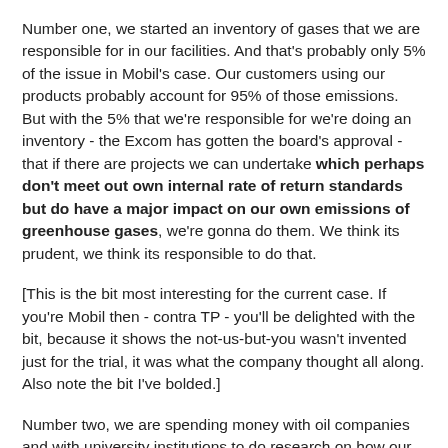Number one, we started an inventory of gases that we are responsible for in our facilities. And that's probably only 5% of the issue in Mobil's case. Our customers using our products probably account for 95% of those emissions. But with the 5% that we're responsible for we're doing an inventory - the Excom has gotten the board's approval - that if there are projects we can undertake which perhaps don't meet out own internal rate of return standards but do have a major impact on our own emissions of greenhouse gases, we're gonna do them. We think its prudent, we think its responsible to do that.
[This is the bit most interesting for the current case. If you're Mobil then - contra TP - you'll be delighted with the bit, because it shows the not-us-but-you wasn't invented just for the trial, it was what the company thought all along. Also note the bit I've bolded.]
Number two, we are spending money with oil companies and with university institutions to do research on how our customers can use our products more effectively and more